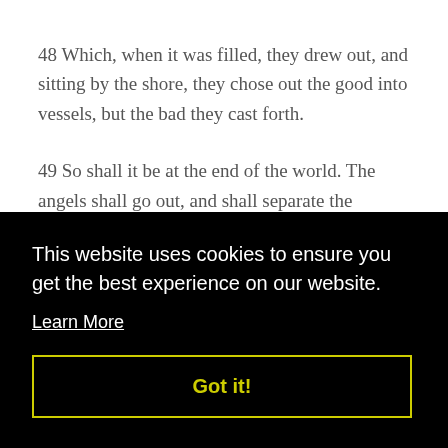48 Which, when it was filled, they drew out, and sitting by the shore, they chose out the good into vessels, but the bad they cast forth.
49 So shall it be at the end of the world. The angels shall go out, and shall separate the wicked from among the just.
50 And shall cast them into the furnace of fire: there shall be
This website uses cookies to ensure you get the best experience on our website. Learn More Got it!